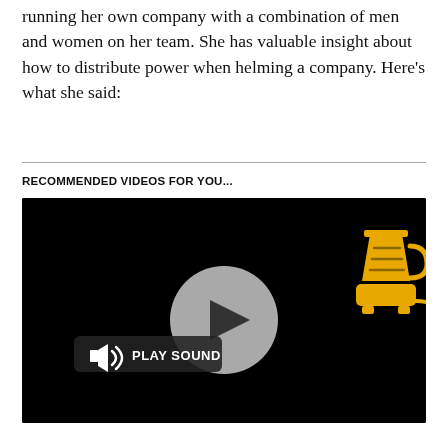running her own company with a combination of men and women on her team. She has valuable insight about how to distribute power when helming a company. Here's what she said:
RECOMMENDED VIDEOS FOR YOU...
[Figure (screenshot): Video player with black background, a blender icon in golden/yellow color in the top right, a gray circular play button in the center, and a 'PLAY SOUND' button with speaker icon on the lower left.]